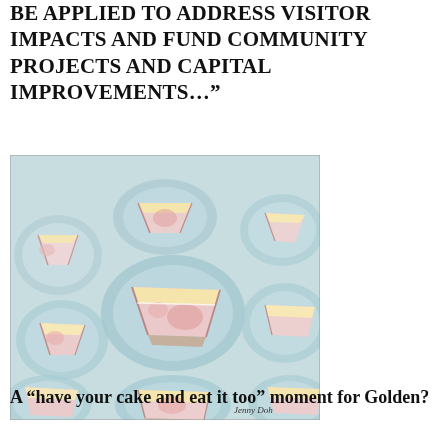BE APPLIED TO ADDRESS VISITOR IMPACTS AND FUND COMMUNITY PROJECTS AND CAPITAL IMPROVEMENTS…"
[Figure (illustration): Painting of multiple slices of cake on blue plates, by Jenny Doh. Pastel colors with pink, yellow, and white tones on a light blue background.]
A “have your cake and eat it too” moment for Golden?